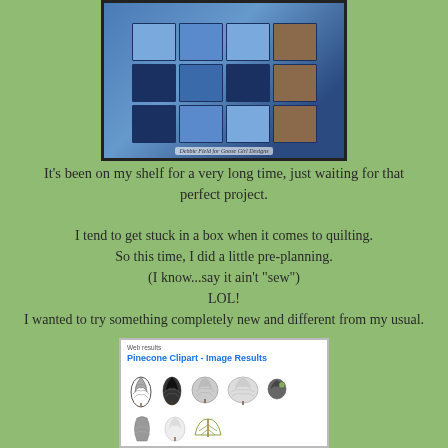[Figure (photo): Photo of a quilt pattern book or fabric panel showing a grid of blue and brown quilt squares with various designs, with a caption at the bottom reading 'Debbie Field for Goose Girl Designs']
It's been on my shelf for a very long time, just waiting for that perfect project.
I tend to get stuck in a box when it comes to quilting.
So this time, I did a little pre-planning.
(I know...say it ain't "sew")
LOL!
I wanted to try something completely new and different from my usual.
[Figure (screenshot): Screenshot of a web image search results page showing 'Pinecone Clipart - Image Results' with multiple pinecone clipart images in black and white and color]